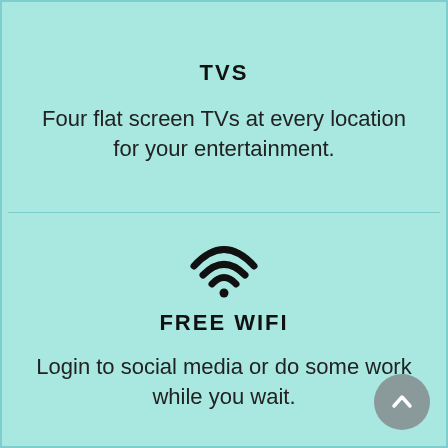TVS
Four flat screen TVs at every location for your entertainment.
[Figure (illustration): WiFi signal icon (three arcs and a dot)]
FREE WIFI
Login to social media or do some work while you wait.